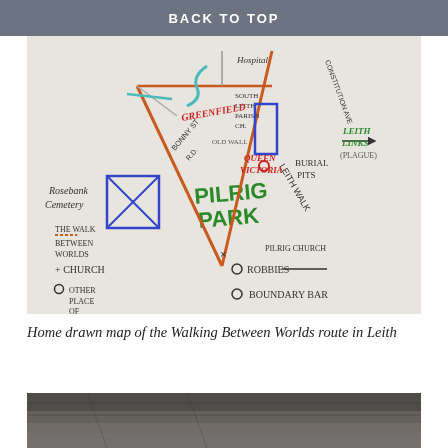BACK TO TOP
[Figure (map): Home drawn map of the Walking Between Worlds route in Leith, showing landmarks: Pilrig Park, Rosebank Cemetery, South Leith Parish Church, Queen Victoria, Leith Links (Plague), Burial Pits, Pilrig Church, Robbies, Boundary Bar, Greenfield, Hospital. Legend shows: The Walk Between Worlds, + Church, O Other Place of Interest.]
Home drawn map of the Walking Between Worlds route in Leith
[Figure (photo): Partial photo of a rooftop or stone surface, visible at bottom of page.]